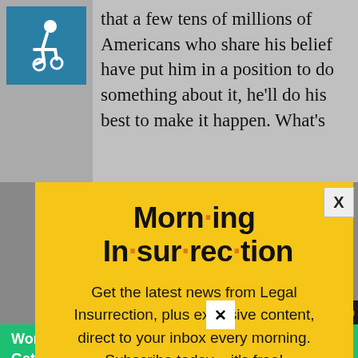that a few tens of millions of Americans who share his belief have put him in a position to do something about it, he'll do his best to make it happen. What's
[Figure (infographic): Wheelchair accessibility icon — white figure on blue background]
Morning Insurrection
Get the latest news from Legal Insurrection, plus exclusive content, direct to your inbox every morning. Subscribe today – it's free!
JOIN NOW (button with envelope icon)
The two postures are not mutually
Working from home?
Get your projects done on fiverr